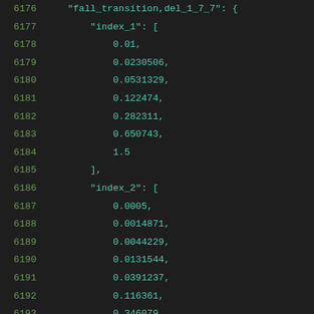6176    "fall_transition,del_1_7_7": {
6177        "index_1": [
6178            0.01,
6179            0.0230506,
6180            0.0531329,
6181            0.122474,
6182            0.282311,
6183            0.650743,
6184            1.5
6185        ],
6186        "index_2": [
6187            0.0005,
6188            0.0014871,
6189            0.0044229,
6190            0.0131544,
6191            0.0391237,
6192            0.116361,
6193            0.346079
6194        ],
6195        "values": [
6196            [
6197            0.1203751